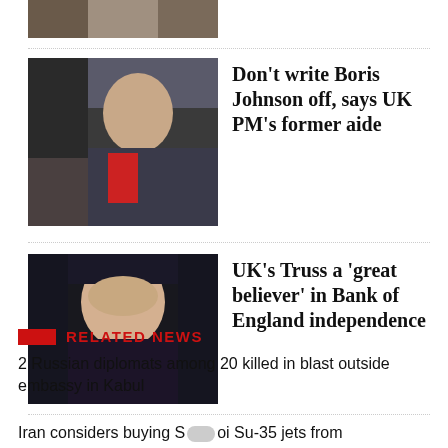[Figure (photo): Partial news article photo at top of page, cropped]
Don't write Boris Johnson off, says UK PM's former aide
[Figure (photo): Boris Johnson in dark suit walking outside]
UK's Truss a 'great believer' in Bank of England independence
[Figure (photo): Liz Truss in dark outfit speaking]
RELATED NEWS
2 Russian diplomats among 20 killed in blast outside embassy in Kabul
Iran considers buying Sukhoi Su-35 jets from